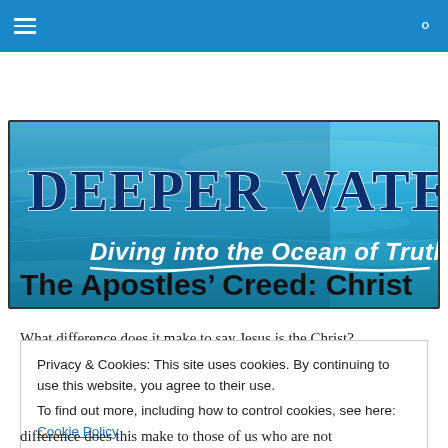Navigation bar with hamburger menu and search icon
[Figure (illustration): Deeper Waters banner image: 'DEEPER WATERS' in dark blue serif font and 'Diving into the Ocean of Truth' in white italic text, over a blue water/ocean background]
The Apostles' Creed: Christ
What difference does it make to say Jesus is the Christ?
Privacy & Cookies: This site uses cookies. By continuing to use this website, you agree to their use.
To find out more, including how to control cookies, see here: Cookie Policy
Close and accept
difference does this make to those of us who are not